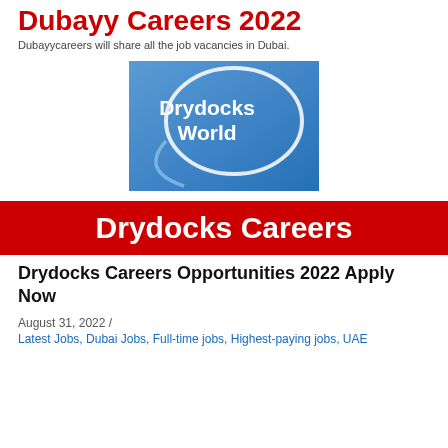Dubayy Careers 2022
Dubayycareers will share all the job vacancies in Dubai.
[Figure (logo): Drydocks World company logo — blue gradient square background with a white circle outline and white text reading 'Drydocks World']
[Figure (infographic): Red banner with white bold text: Drydocks Careers]
Drydocks Careers Opportunities 2022 Apply Now
August 31, 2022  /
Latest Jobs, Dubai Jobs, Full-time jobs, Highest-paying jobs, UAE